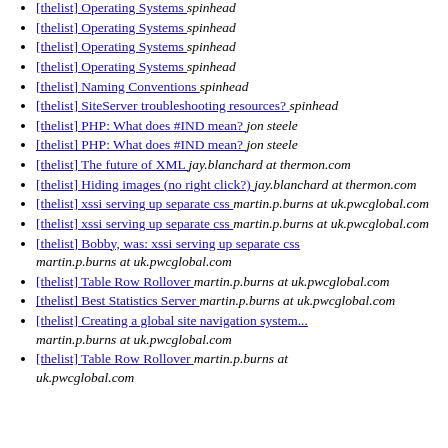[thelist] Operating Systems spinhead
[thelist] Operating Systems spinhead
[thelist] Operating Systems spinhead
[thelist] Operating Systems spinhead
[thelist] Naming Conventions spinhead
[thelist] SiteServer troubleshooting resources? spinhead
[thelist] PHP: What does #IND mean? jon steele
[thelist] PHP: What does #IND mean? jon steele
[thelist] The future of XML jay.blanchard at thermon.com
[thelist] Hiding images (no right click?) jay.blanchard at thermon.com
[thelist] xssi serving up separate css martin.p.burns at uk.pwcglobal.com
[thelist] xssi serving up separate css martin.p.burns at uk.pwcglobal.com
[thelist] Bobby, was: xssi serving up separate css martin.p.burns at uk.pwcglobal.com
[thelist] Table Row Rollover martin.p.burns at uk.pwcglobal.com
[thelist] Best Statistics Server martin.p.burns at uk.pwcglobal.com
[thelist] Creating a global site navigation system... martin.p.burns at uk.pwcglobal.com
[thelist] Table Row Rollover martin.p.burns at uk.pwcglobal.com